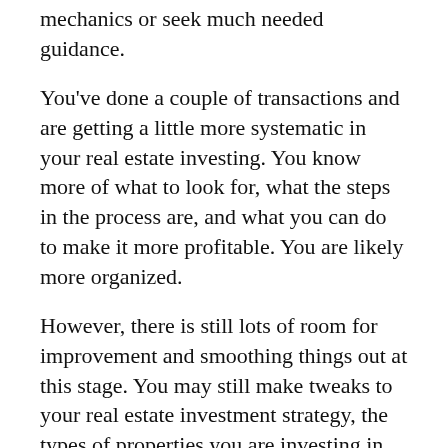though you still need to think about the actual mechanics or seek much needed guidance.
You've done a couple of transactions and are getting a little more systematic in your real estate investing. You know more of what to look for, what the steps in the process are, and what you can do to make it more profitable. You are likely more organized.
However, there is still lots of room for improvement and smoothing things out at this stage. You may still make tweaks to your real estate investment strategy, the types of properties you are investing in, and how you structure deals. Don't let small blunders or underperforming your goals deter you. Stick with it. Keep an open mind and stay flexible, while constantly honing your craft and